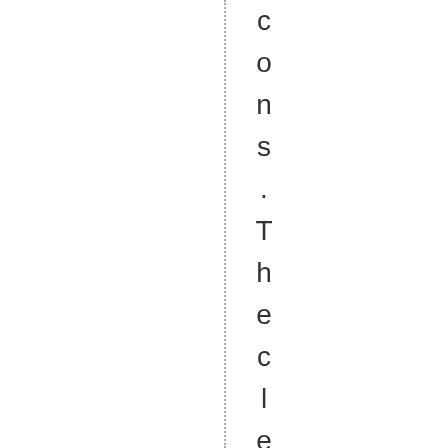cons .The cleats are repainted t